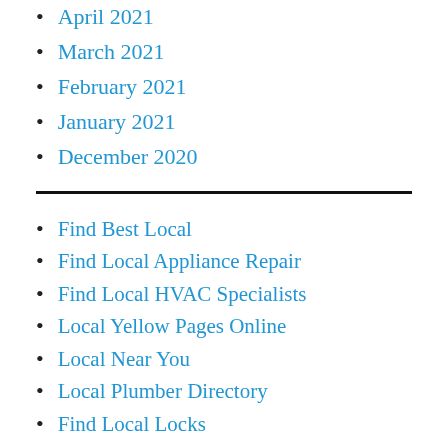April 2021
March 2021
February 2021
January 2021
December 2020
Find Best Local
Find Local Appliance Repair
Find Local HVAC Specialists
Local Yellow Pages Online
Local Near You
Local Plumber Directory
Find Local Locks
Find Local Plumbing